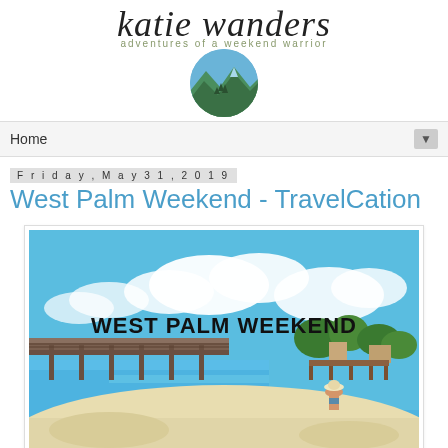[Figure (logo): Katie Wanders blog logo: cursive script text 'katie wanders' with subtitle 'adventures of a weekend warrior' and a circular painted landscape badge below]
Home ▼
Friday, May 31, 2019
West Palm Weekend - TravelCation
[Figure (photo): Blog post header image with 'WEST PALM WEEKEND' text overlay on a beach scene with blue sky, white clouds, a wooden dock/pier on the left, turquoise water, white sand, and a person in a hat and bikini standing in shallow water, with palm trees and buildings in the background]